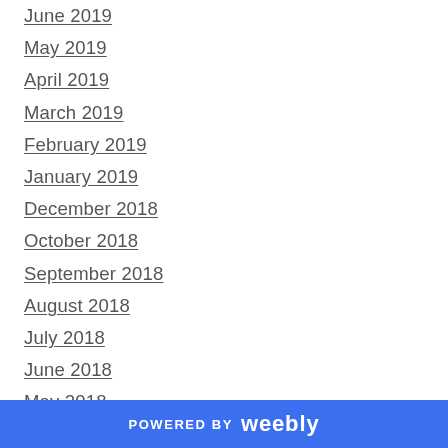June 2019
May 2019
April 2019
March 2019
February 2019
January 2019
December 2018
October 2018
September 2018
August 2018
July 2018
June 2018
May 2018
April 2018
March 2018
January 2018
December 2017
POWERED BY weebly